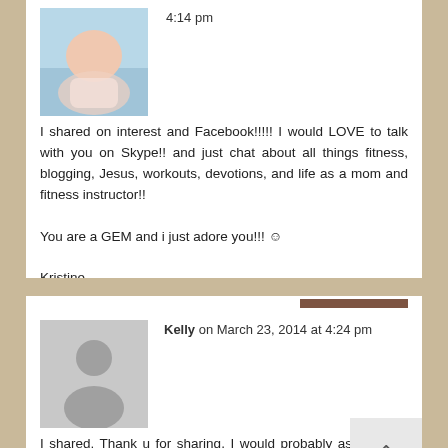4:14 pm
I shared on interest and Facebook!!!!! I would LOVE to talk with you on Skype!! and just chat about all things fitness, blogging, Jesus, workouts, devotions, and life as a mom and fitness instructor!!

You are a GEM and i just adore you!!! ☺

Kristine
REPLY
Kelly on March 23, 2014 at 4:24 pm
I shared. Thank u for sharing. I would probably ask u more about your faith as it relates to your fitness goals.